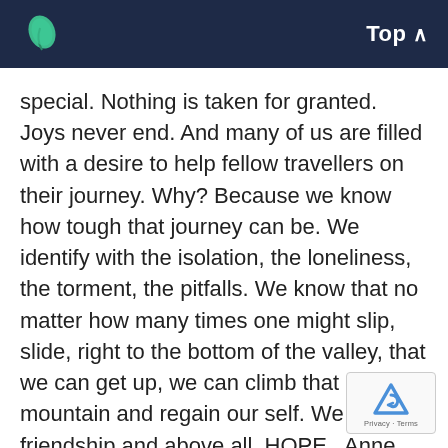Top
special. Nothing is taken for granted. Joys never end. And many of us are filled with a desire to help fellow travellers on their journey. Why? Because we know how tough that journey can be. We identify with the isolation, the loneliness, the torment, the pitfalls. We know that no matter how many times one might slip, slide, right to the bottom of the valley, that we can get up, we can climb that mountain and regain our self. We offer friendship and above all, HOPE.  Anne Sophie shares her inspiring story:
THEN